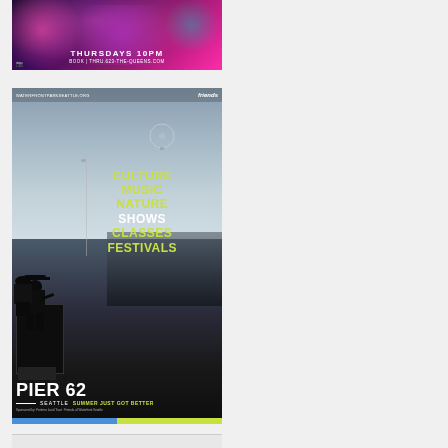[Figure (photo): Advertisement image with colorful performers, text reading 'THURSDAYS 10PM' and 'BOOK | THRU.623-THE-QUEENS.COM' on dark purple/pink background]
[Figure (photo): Pier 62 Seattle advertisement showing outdoor concert scene with performer silhouette against waterfront. Text reads: WATERFRONTPARKSEATTLE.ORG, friends logo, CULTURE MUSIC NATURE SHOWS CLASSES FESTIVALS, PIER 62 SEATTLE SUMMER JUST GOT BETTER. Color strip at bottom in blue and green/yellow.]
[Figure (photo): Partial third advertisement image visible at bottom of page]